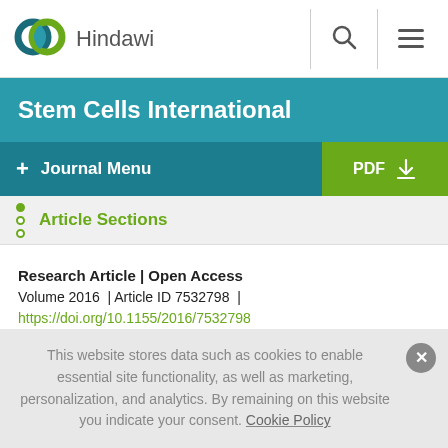[Figure (logo): Hindawi publisher logo with two interlocking circles (teal and green) and the text 'Hindawi']
Stem Cells International
+ Journal Menu | PDF download
Article Sections
Research Article | Open Access
Volume 2016 | Article ID 7532798 |
https://doi.org/10.1155/2016/7532798
This website stores data such as cookies to enable essential site functionality, as well as marketing, personalization, and analytics. By remaining on this website you indicate your consent. Cookie Policy